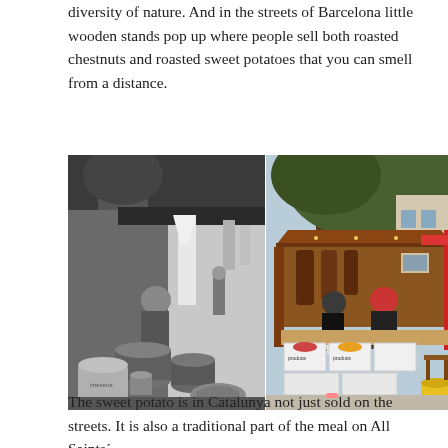diversity of nature. And in the streets of Barcelona little wooden stands pop up where people sell both roasted chestnuts and roasted sweet potatoes that you can smell from a distance.
[Figure (photo): Two side-by-side photos of street food stands selling chestnuts and sweet potatoes. Left photo is black and white showing an elderly vendor with metal drums and sacks. Right photo is in color showing a wooden market stand with boxes of produce and a red umbrella, under a large tree.]
The sweet potato is in Catalunya not just sold on the streets. It is also a traditional part of the meal on All Saints´